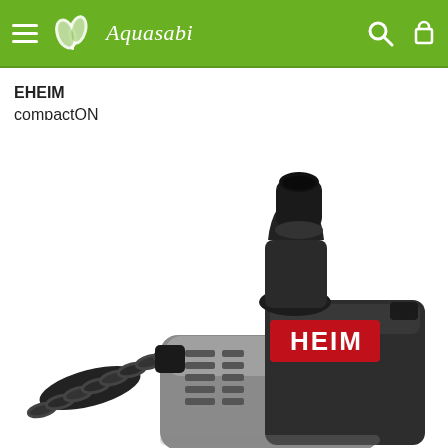Aquasabi
EHEIM
compactON
[Figure (photo): Close-up product photo of an EHEIM compactON aquarium pump. The pump has a dark grey/black body with silver/grey accents and a red EHEIM logo on the side. It features a cylindrical outlet nozzle on top, ventilation slots on the body, and a corrugated intake hose on the left side. The pump sits on a base with a suction cup mount visible at the bottom right.]